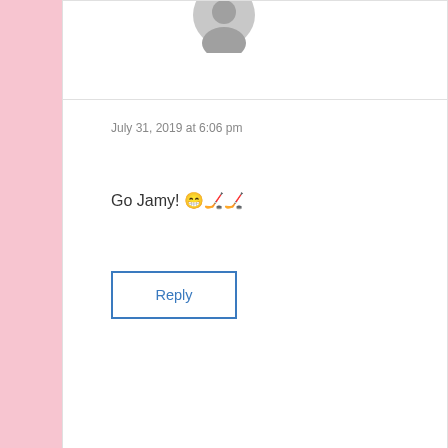July 31, 2019 at 6:06 pm
Go Jamy! 😁🏒🏒
Reply
Aurey Aryong Domingo says: